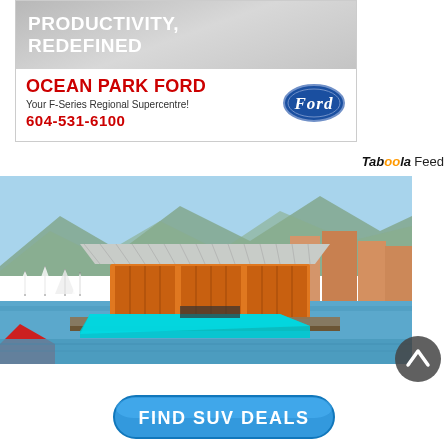[Figure (advertisement): Ocean Park Ford advertisement showing 'PRODUCTIVITY, REDEFINED' text at top in gray background, then dealer name in red, tagline, and phone number 604-531-6100 with Ford oval logo]
Taboola Feed
[Figure (photo): Marina scene showing a floating building with corrugated metal roof and orange wooden garage doors, a speedboat in the foreground, sailboats and waterfront buildings in background, mountains behind]
[Figure (other): Dark circular scroll-to-top button with upward chevron arrow]
[Figure (other): Blue rounded rectangle button with white bold text reading 'FIND SUV DEALS']